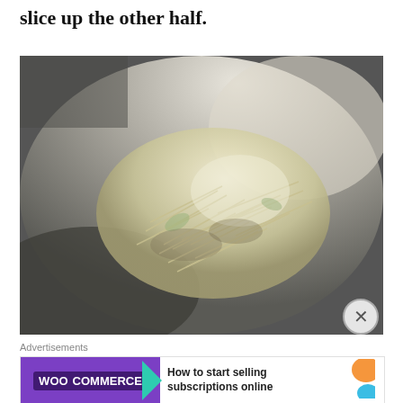slice up the other half.
[Figure (photo): A pile of shredded or thinly sliced onion in a metal mixing bowl, viewed from above. The onion pieces are pale yellow-white and appear freshly cut.]
Advertisements
[Figure (other): WooCommerce advertisement banner with purple background, teal arrow, and text 'How to start selling subscriptions online' with orange decorative shape.]